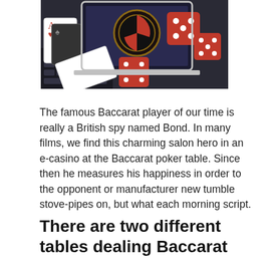[Figure (photo): Casino-themed photo showing playing cards including Ace of Hearts, roulette wheel, red dice, and a laptop keyboard, arranged on a surface.]
The famous Baccarat player of our time is really a British spy named Bond. In many films, we find this charming salon hero in an e-casino at the Baccarat poker table. Since then he measures his happiness in order to the opponent or manufacturer new tumble stove-pipes on, but what each morning script.
There are two different tables dealing Baccarat